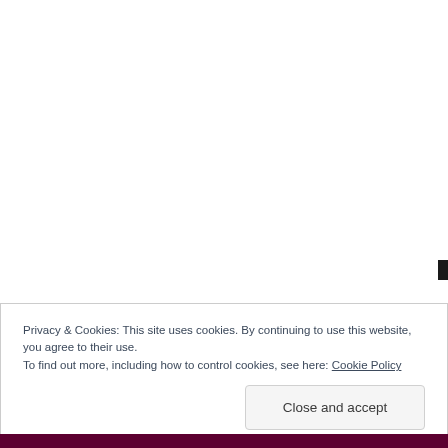Privacy & Cookies: This site uses cookies. By continuing to use this website, you agree to their use.
To find out more, including how to control cookies, see here: Cookie Policy
Close and accept